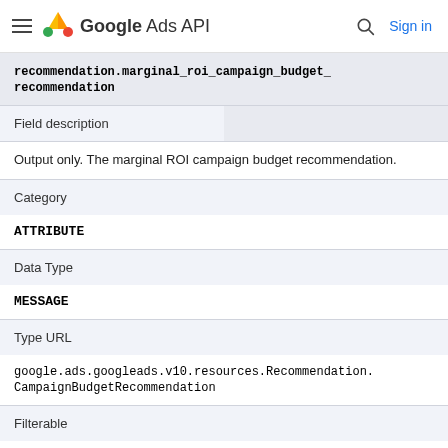Google Ads API  Sign in
| recommendation.marginal_roi_campaign_budget_recommendation |
| Field description |  |
| Output only. The marginal ROI campaign budget recommendation. |
| Category |  |
| ATTRIBUTE |
| Data Type |  |
| MESSAGE |
| Type URL |  |
| google.ads.googleads.v10.resources.Recommendation.CampaignBudgetRecommendation |
| Filterable |  |